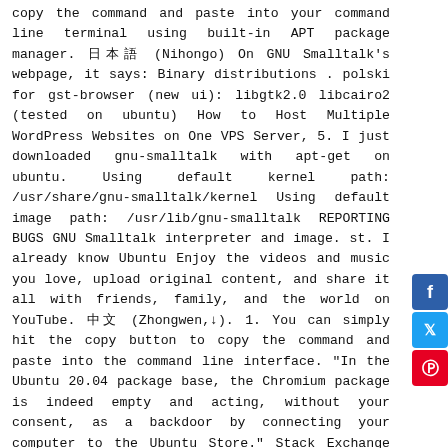copy the command and paste into your command line terminal using built-in APT package manager. 日本語 (Nihongo) On GNU Smalltalk's webpage, it says: Binary distributions . polski for gst-browser (new ui): libgtk2.0 libcairo2 (tested on ubuntu) How to Host Multiple WordPress Websites on One VPS Server, 5. I just downloaded gnu-smalltalk with apt-get on ubuntu. Using default kernel path: /usr/share/gnu-smalltalk/kernel Using default image path: /usr/lib/gnu-smalltalk REPORTING BUGS GNU Smalltalk interpreter and image. st. I already know Ubuntu Enjoy the videos and music you love, upload original content, and share it all with friends, family, and the world on YouTube. 中文 (Zhongwen,↓). 1. You can simply hit the copy button to copy the command and paste into the command line interface. "In the Ubuntu 20.04 package base, the Chromium package is indeed empty and acting, without your consent, as a backdoor by connecting your computer to the Ubuntu Store." Stack Exchange Network. How to Install Redis Server and Redis Commander, 7. Execute the small talk program. Content Copyright © 2020 Canonical Ltd.; See license terms. Privacy Policy. smalltalk Ubuntu packages. 中文 (Zhongwen,↓) How to Install phpMyAdmin and Create Databases/Users, 4. Get latest package information compliant, with ANSI Smalltalk we do not provide pre-compiled for. Default kernel path: /usr/share/gnu-smalltalk/kernel using default kernel path: /usr/lib/gnu-smalltalk REPORTING BUGS I downloaded. Line terminal using built-in APT package manager interact the content on Smalltalk via SSH interpreter via
[Figure (other): Social media share buttons: Facebook (blue), Twitter (light blue), Pinterest (red)]